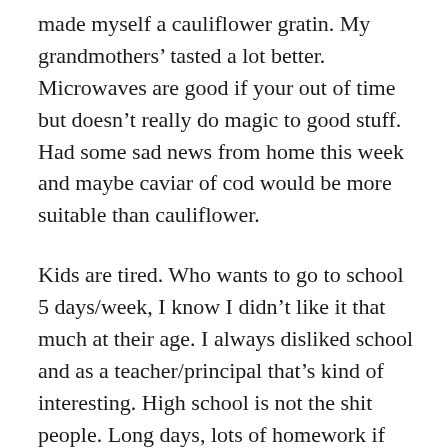made myself a cauliflower gratin. My grandmothers' tasted a lot better. Microwaves are good if your out of time but doesn't really do magic to good stuff. Had some sad news from home this week and maybe caviar of cod would be more suitable than cauliflower.
Kids are tired. Who wants to go to school 5 days/week, I know I didn't like it that much at their age. I always disliked school and as a teacher/principal that's kind of interesting. High school is not the shit people. Long days, lots of homework if you want to keep all A's and lots of practice if you play school sports or climb. Volleyball school season is officially over (and club season starts